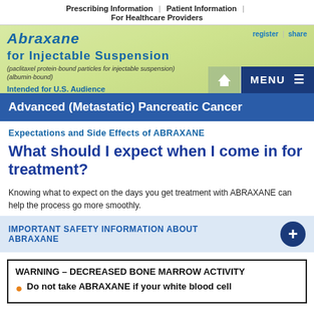Prescribing Information | Patient Information | For Healthcare Providers
[Figure (screenshot): Abraxane for Injectable Suspension logo and website header with green background, register/share links, home button, and MENU button]
Advanced (Metastatic) Pancreatic Cancer
Expectations and Side Effects of ABRAXANE
What should I expect when I come in for treatment?
Knowing what to expect on the days you get treatment with ABRAXANE can help the process go more smoothly.
IMPORTANT SAFETY INFORMATION ABOUT ABRAXANE
WARNING – DECREASED BONE MARROW ACTIVITY
Do not take ABRAXANE if your white blood cell